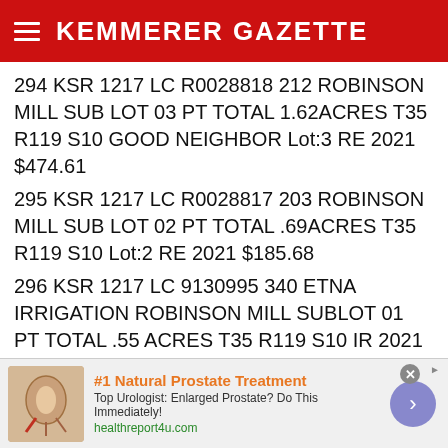KEMMERER GAZETTE
294 KSR 1217 LC R0028818 212 ROBINSON MILL SUB LOT 03 PT TOTAL 1.62ACRES T35 R119 S10 GOOD NEIGHBOR Lot:3 RE 2021 $474.61
295 KSR 1217 LC R0028817 203 ROBINSON MILL SUB LOT 02 PT TOTAL .69ACRES T35 R119 S10 Lot:2 RE 2021 $185.68
296 KSR 1217 LC 9130995 340 ETNA IRRIGATION ROBINSON MILL SUBLOT 01 PT TOTAL .55 ACRES T35 R119 S10 IR 2021 $93.95
297 LABENNE JONATHAN A & PAMELA A R0017784 250 ROCKBRIDGE MDWS 1ST LOT 13 TOTAL .28ACRES T32 R118 S30 Lot:13 RE 2021 $114.20